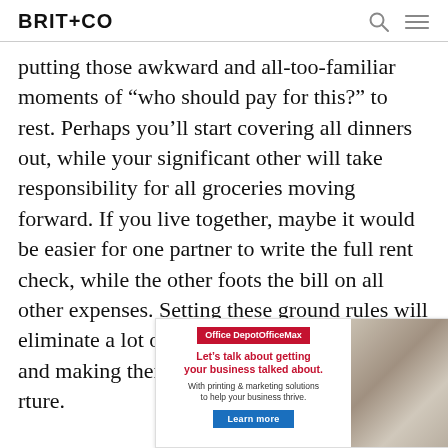BRIT+CO
putting those awkward and all-too-familiar moments of “who should pay for this?” to rest. Perhaps you’ll start covering all dinners out, while your significant other will take responsibility for all groceries moving forward. If you live together, maybe it would be easier for one partner to write the full rent check, while the other foots the bill on all other expenses. Setting these ground rules will eliminate a lot of unnecessary financial banter, and making them a more seamless part of your r... ture.
[Figure (other): Office Depot OfficeMax advertisement. Text: Let’s talk about getting your business talked about. With printing & marketing solutions to help your business thrive. Learn more button. Image shows desk scene with papers and person.]